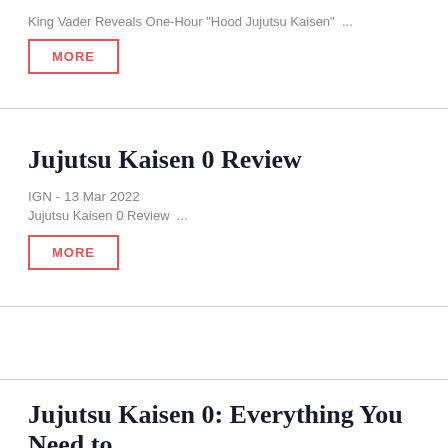King Vader Reveals One-Hour "Hood Jujutsu Kaisen" ...
MORE
Jujutsu Kaisen 0 Review
IGN - 13 Mar 2022
Jujutsu Kaisen 0 Review ...
MORE
Jujutsu Kaisen 0: Everything You Need to